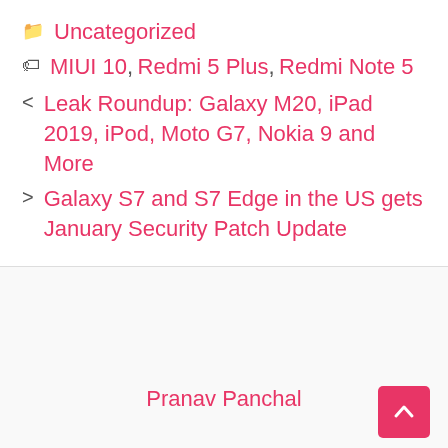Uncategorized
MIUI 10, Redmi 5 Plus, Redmi Note 5
< Leak Roundup: Galaxy M20, iPad 2019, iPod, Moto G7, Nokia 9 and More
> Galaxy S7 and S7 Edge in the US gets January Security Patch Update
Pranav Panchal